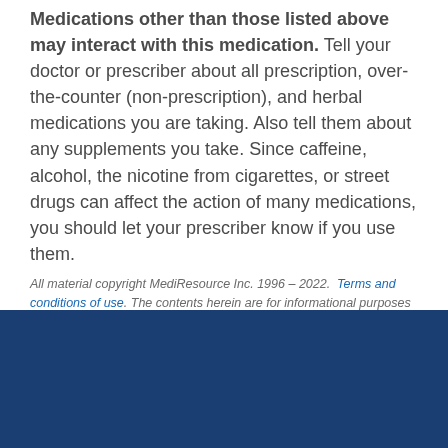Medications other than those listed above may interact with this medication. Tell your doctor or prescriber about all prescription, over-the-counter (non-prescription), and herbal medications you are taking. Also tell them about any supplements you take. Since caffeine, alcohol, the nicotine from cigarettes, or street drugs can affect the action of many medications, you should let your prescriber know if you use them.
All material copyright MediResource Inc. 1996 – 2022. Terms and conditions of use. The contents herein are for informational purposes only. Always seek the advice of your physician or other qualified health provider with any questions you may have regarding a medical condition. Source: www.medbroadcast.com/drug/getdrug/Auro-Nevirapine
Last Updated: 24/08/2022